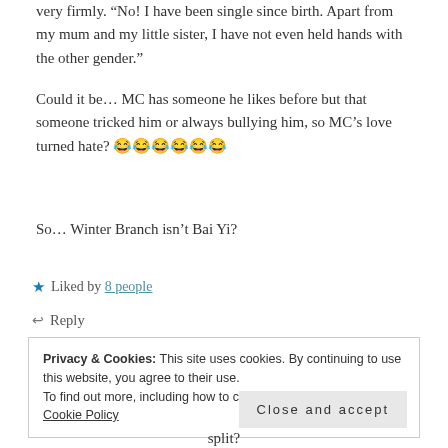very firmly. “No! I have been single since birth. Apart from my mum and my little sister, I have not even held hands with the other gender.”
Could it be… MC has someone he likes before but that someone tricked him or always bullying him, so MC’s love turned hate? 😂😂😂😂😂😂
So… Winter Branch isn’t Bai Yi?
★ Liked by 8 people
↩ Reply
Privacy & Cookies: This site uses cookies. By continuing to use this website, you agree to their use.
To find out more, including how to control cookies, see here: Cookie Policy
Close and accept
split?